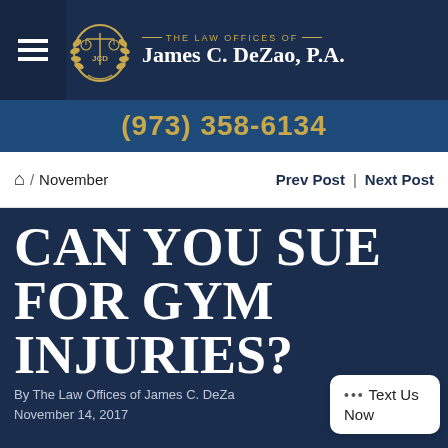THE LAW OFFICES OF James C. DeZao, P.A.
(973) 358-6134
Home / November   Prev Post | Next Post
CAN YOU SUE FOR GYM INJURIES?
By The Law Offices of James C. DeZao
November 14, 2017